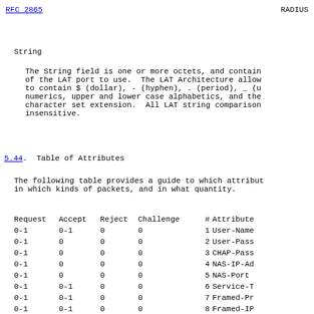RFC 2865   RADIUS
String
The String field is one or more octets, and contains the name of the LAT port to use.  The LAT Architecture allows the name to contain $ (dollar), - (hyphen), . (period), _ (underscore), numerics, upper and lower case alphabetics, and the ISO 8859-1 character set extension.  All LAT string comparisons are case insensitive.
5.44.  Table of Attributes
The following table provides a guide to which attributes may be found in which kinds of packets, and in what quantity.
| Request | Accept | Reject | Challenge | # | Attribute |
| --- | --- | --- | --- | --- | --- |
| 0-1 | 0-1 | 0 | 0 | 1 | User-Name |
| 0-1 | 0 | 0 | 0 | 2 | User-Pass... |
| 0-1 | 0 | 0 | 0 | 3 | CHAP-Pass... |
| 0-1 | 0 | 0 | 0 | 4 | NAS-IP-Ad... |
| 0-1 | 0 | 0 | 0 | 5 | NAS-Port |
| 0-1 | 0-1 | 0 | 0 | 6 | Service-T... |
| 0-1 | 0-1 | 0 | 0 | 7 | Framed-Pr... |
| 0-1 | 0-1 | 0 | 0 | 8 | Framed-IP... |
| 0-1 | 0-1 | 0 | 0 | 9 | Framed-IP... |
| 0 | 0-1 | 0 | 0 | 10 | Framed-Ro... |
| 0 | 0+ | 0 | 0 | 11 | Filter-T... |